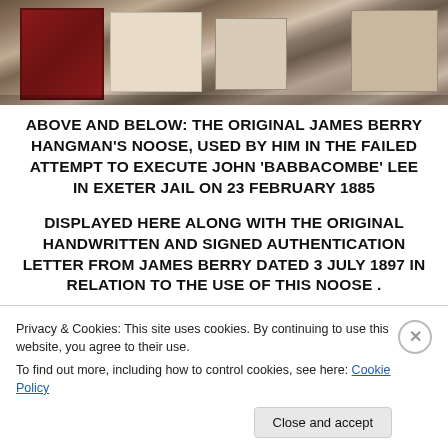[Figure (photo): Photograph showing framed documents and artifacts displayed on a surface, likely a museum or exhibition display]
ABOVE AND BELOW: THE ORIGINAL JAMES BERRY HANGMAN'S NOOSE, USED BY HIM IN THE FAILED ATTEMPT TO EXECUTE JOHN 'BABBACOMBE' LEE IN EXETER JAIL ON 23 FEBRUARY 1885
DISPLAYED HERE ALONG WITH THE ORIGINAL HANDWRITTEN AND SIGNED AUTHENTICATION LETTER FROM JAMES BERRY DATED 3 JULY 1897 IN RELATION TO THE USE OF THIS NOOSE .
Privacy & Cookies: This site uses cookies. By continuing to use this website, you agree to their use.
To find out more, including how to control cookies, see here: Cookie Policy